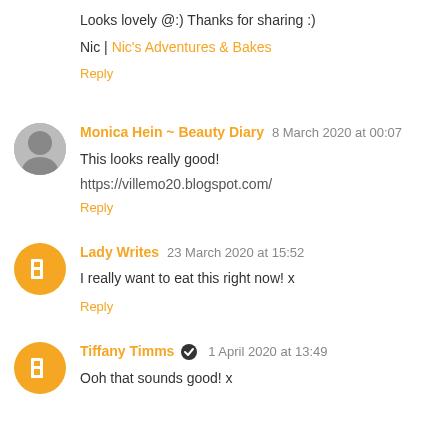Looks lovely @:) Thanks for sharing :)
Nic | Nic's Adventures & Bakes
Reply
Monica Hein ~ Beauty Diary 8 March 2020 at 00:07
This looks really good!
https://villemo20.blogspot.com/
Reply
Lady Writes 23 March 2020 at 15:52
I really want to eat this right now! x
Reply
Tiffany Timms 1 April 2020 at 13:49
Ooh that sounds good! x